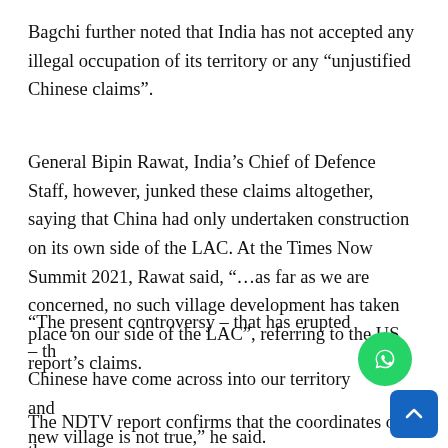Bagchi further noted that India has not accepted any illegal occupation of its territory or any “unjustified Chinese claims”.
General Bipin Rawat, India’s Chief of Defence Staff, however, junked these claims altogether, saying that China had only undertaken construction on its own side of the LAC. At the Times Now Summit 2021, Rawat said, “…as far as we are concerned, no such village development has taken place on our side of the LAC”, referring to the US report’s claims.
“The present controversy – that has erupted – that the Chinese have come across into our territory and built a new village is not true,” he said.
The NDTV report confirms that the coordinates of the structures revealed through the satellite images fall